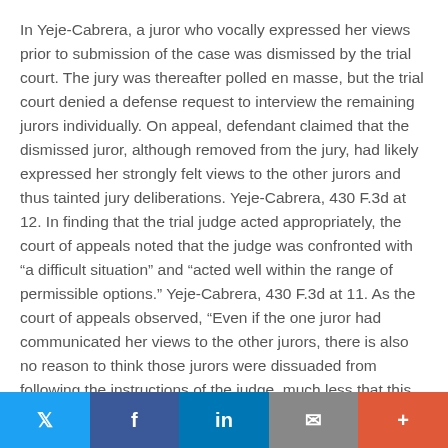In Yeje-Cabrera, a juror who vocally expressed her views prior to submission of the case was dismissed by the trial court. The jury was thereafter polled en masse, but the trial court denied a defense request to interview the remaining jurors individually. On appeal, defendant claimed that the dismissed juror, although removed from the jury, had likely expressed her strongly felt views to the other jurors and thus tainted jury deliberations. Yeje-Cabrera, 430 F.3d at 12. In finding that the trial judge acted appropriately, the court of appeals noted that the judge was confronted with “a difficult situation” and “acted well within the range of permissible options.” Yeje-Cabrera, 430 F.3d at 11. As the court of appeals observed, “Even if the one juror had communicated her views to the other jurors, there is also no reason to think those jurors were dissuaded from following the instructions of the judge, much less that this somehow led jurors to
Twitter | Facebook | LinkedIn | Email | More